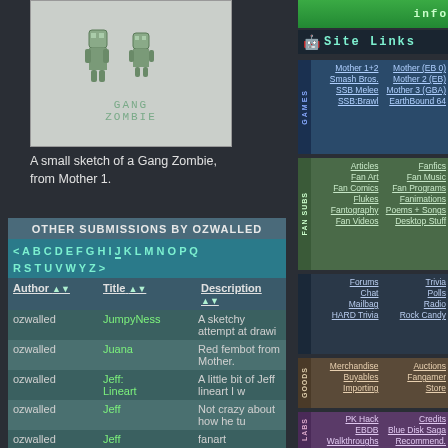[Figure (illustration): A small pixel/sketch drawing of a Gang Zombie character on a light gray background, with green text label 'GANG ZOMBIE' below the sprite]
A small sketch of a Gang Zombie, from Mother 1.
| Author | Title | Description |
| --- | --- | --- |
| ozwalled | JumpyNess | A sketchy attempt at drawi... |
| ozwalled | Juana | Red fembot from Mother. |
| ozwalled | Jeff: Lineart | A little bit of Jeff lineart I w... |
| ozwalled | Jeff | Not crazy about how he tu... |
| ozwalled | Jeff | fanart |
Site Links
Mother 1+2
Mother (EB 0)
Smash Bros.
Mother 2 (EB)
SSB Melee
Mother 3 (GBA)
SSB:Brawl
EarthBound 64
Articles
Fanfics
Fan Art
Fan Music
Fan Comics
Fan Programs
Flukes
Fanimations
Fantography
Poems + Songs
Fan Videos
Desktop Stuff
Forums
Trivia
Chat
Polls
Mailbag
Radio
HARD Trivia
Rock Candy